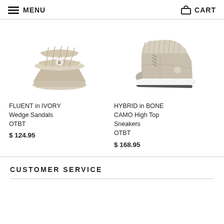MENU   CART
[Figure (photo): Ivory woven wedge sandal shoe product photo on white background]
FLUENT in IVORY Wedge Sandals OTBT
$ 124.95
[Figure (photo): Bone camo high top sneaker product photo on white background]
HYBRID in BONE CAMO High Top Sneakers OTBT
$ 168.95
CUSTOMER SERVICE